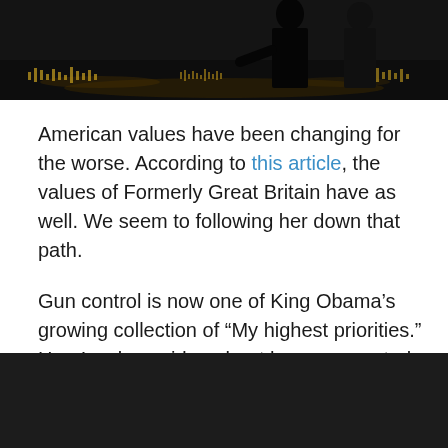[Figure (photo): Dark screenshot of two people in suits against a black background with waveform/audio visualization at the bottom]
American values have been changing for the worse. According to this article, the values of Formerly Great Britain have as well. We seem to following her down that path.
Gun control is now one of King Obama’s growing collection of “My highest priorities.” Here’s a long video about how gun control has worked elsewhere. What a load of conspiracy theory manure! What? It’s not? Judge for yourself.
[Figure (screenshot): Dark/black video thumbnail at the bottom of the page]